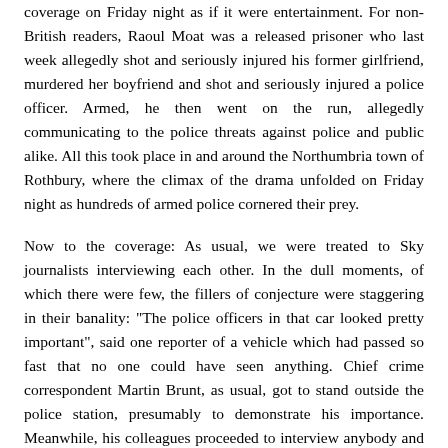coverage on Friday night as if it were entertainment. For non-British readers, Raoul Moat was a released prisoner who last week allegedly shot and seriously injured his former girlfriend, murdered her boyfriend and shot and seriously injured a police officer. Armed, he then went on the run, allegedly communicating to the police threats against police and public alike. All this took place in and around the Northumbria town of Rothbury, where the climax of the drama unfolded on Friday night as hundreds of armed police cornered their prey.
Now to the coverage: As usual, we were treated to Sky journalists interviewing each other. In the dull moments, of which there were few, the fillers of conjecture were staggering in their banality: "The police officers in that car looked pretty important", said one reporter of a vehicle which had passed so fast that no one could have seen anything. Chief crime correspondent Martin Brunt, as usual, got to stand outside the police station, presumably to demonstrate his importance. Meanwhile, his colleagues proceeded to interview anybody and everybody, whether they had seen anything or not. I kept waiting for them to interview a dog.